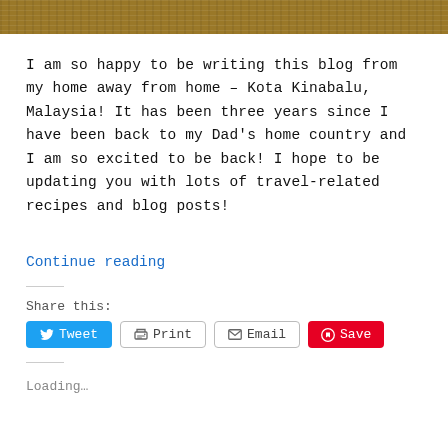[Figure (photo): Top portion of a wooden surface photo, cropped]
I am so happy to be writing this blog from my home away from home – Kota Kinabalu, Malaysia! It has been three years since I have been back to my Dad's home country and I am so excited to be back! I hope to be updating you with lots of travel-related recipes and blog posts!
Continue reading
Share this:
Tweet
Print
Email
Save
Loading...